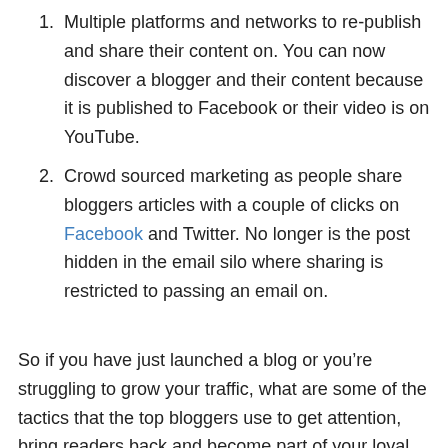Multiple platforms and networks to re-publish and share their content on. You can now discover a blogger and their content because it is published to Facebook or their video is on YouTube.
Crowd sourced marketing as people share bloggers articles with a couple of clicks on Facebook and Twitter. No longer is the post hidden in the email silo where sharing is restricted to passing an email on.
So if you have just launched a blog or you’re struggling to grow your traffic, what are some of the tactics that the top bloggers use to get attention, bring readers back and become part of your loyal